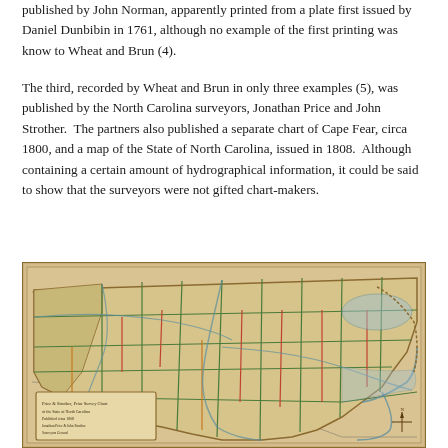published by John Norman, apparently printed from a plate first issued by Daniel Dunbibin in 1761, although no example of the first printing was know to Wheat and Brun (4).
The third, recorded by Wheat and Brun in only three examples (5), was published by the North Carolina surveyors, Jonathan Price and John Strother.  The partners also published a separate chart of Cape Fear, circa 1800, and a map of the State of North Carolina, issued in 1808.  Although containing a certain amount of hydrographical information, it could be said to show that the surveyors were not gifted chart-makers.
[Figure (map): Historical map of North Carolina showing county boundaries, rivers, and coastal features. The map has an aged, tan/sepia background with green, red, and orange outlines for county divisions. A legend cartouche appears in the lower left corner.]